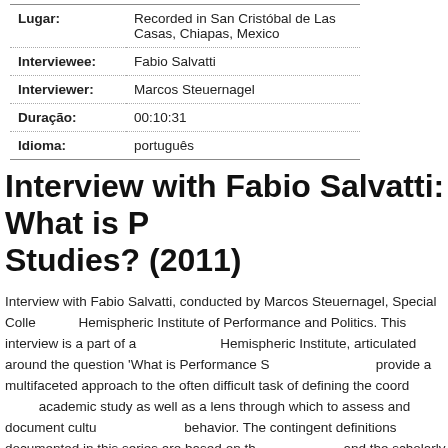| Lugar: | Recorded in San Cristóbal de Las Casas, Chiapas, Mexico |
| Interviewee: | Fabio Salvatti |
| Interviewer: | Marcos Steuernagel |
| Duração: | 00:10:31 |
| Idioma: | português |
Interview with Fabio Salvatti: What is Performance Studies? (2011)
Interview with Fabio Salvatti, conducted by Marcos Steuernagel, Special Collections, Hemispheric Institute of Performance and Politics. This interview is a part of a series by the Hemispheric Institute, articulated around the question 'What is Performance Studies?' meant to provide a multifaceted approach to the often difficult task of defining the coordinates of an academic study as well as a lens through which to assess and document cultural and artistic behavior. The contingent definitions documented in this series are based on the experiences and the scholarly endeavors of renowned figures in contemporary performance studies.
Fabio Salvatti is Assistant Professor at the Universidade Federal de Santa Catarina in Performing Arts. His research interests are focused on political activism and its symbolic forms. His investigation on activist pranks explores the political potential embedded in symbolic constructions that could ignite political participation. Fabio Salvatti is worked mainly with two different theater companies: IKixi Companhia de Tatro...